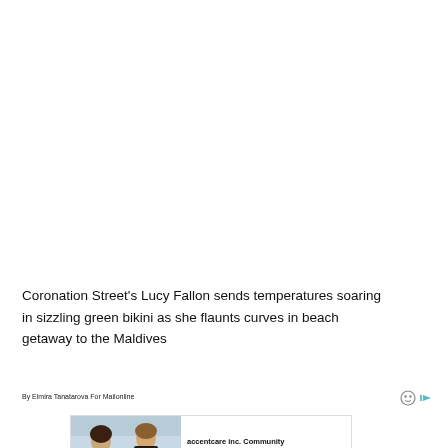Coronation Street's Lucy Fallon sends temperatures soaring in sizzling green bikini as she flaunts curves in beach getaway to the Maldives
By Elmira Tanatarova For Mailonline
[Figure (photo): Advertisement overlay showing two women in an office/dining setting with accentcare inc. job advertisement]
PUBLISHED: May 2022 | UPDATED: 11:08 EDT, 21 May 2022